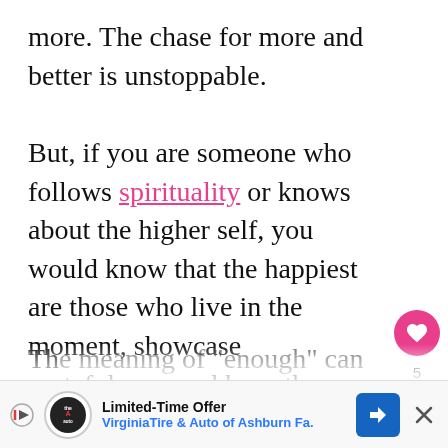more. The chase for more and better is unstoppable.

But, if you are someone who follows spirituality or knows about the higher self, you would know that the happiest are those who live in the moment, showcase gratefulness, and keep the ego aside. Among many inspirational quotes on the internet related to this, "I wish you enough" poem has captured my attention recently.

Th...
[Figure (other): UI overlay: heart/like button (pink circle with heart icon, count of 5) and share button (light circle with share icon) on the right side of the page]
[Figure (other): Advertisement banner at bottom: Limited-Time Offer for Virginia Tire & Auto of Ashburn Fa. with logo, blue navigation icon, and close button]